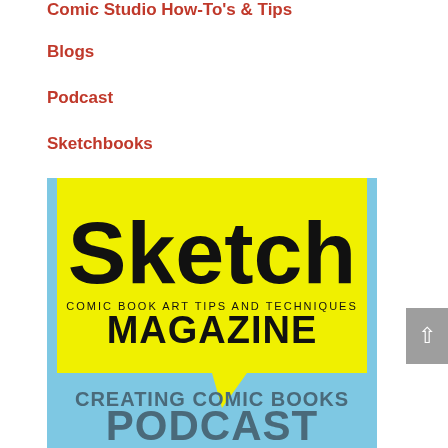Comic Studio How-To's & Tips
Blogs
Podcast
Sketchbooks
[Figure (illustration): Sketch Magazine cover — yellow speech bubble with 'Sketch' in large bold black text, subtitle 'COMIC BOOK ART TIPS AND TECHNIQUES MAGAZINE', light blue background below with text 'CREATING COMIC BOOKS PODCAST']